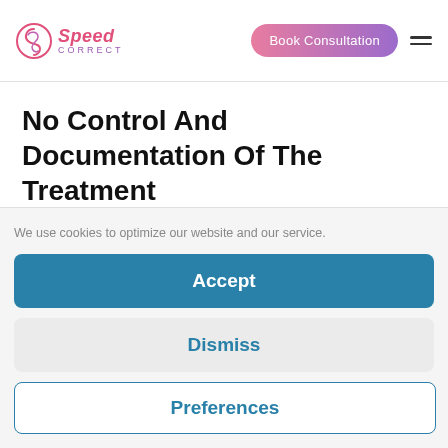Speed Correct — Book Consultation
No Control And Documentation Of The Treatment
Another danger posed by “braces online” & co. is the lack of treatment control. If you are treated with
We use cookies to optimize our website and our service.
Accept
Dismiss
Preferences